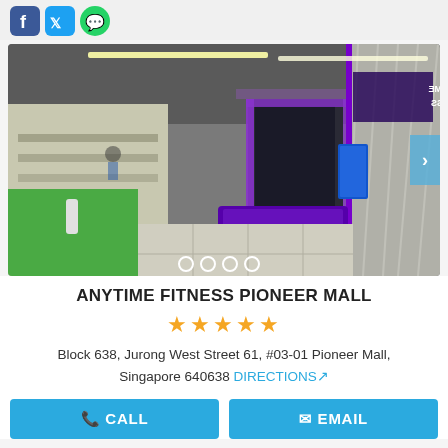[Figure (photo): Social media icons: Facebook (blue), Twitter (teal/blue), WhatsApp (green) at top left]
[Figure (photo): Interior photo of Anytime Fitness Pioneer Mall gym entrance with purple accent lighting and Anytime Fitness signage visible, a purple-clothed table in foreground, and a side store visible to the left. Carousel with 4 dots indicator at bottom.]
ANYTIME FITNESS PIONEER MALL
[Figure (other): 5 orange star rating icons]
Block 638, Jurong West Street 61, #03-01 Pioneer Mall, Singapore 640638 DIRECTIONS
CALL   EMAIL